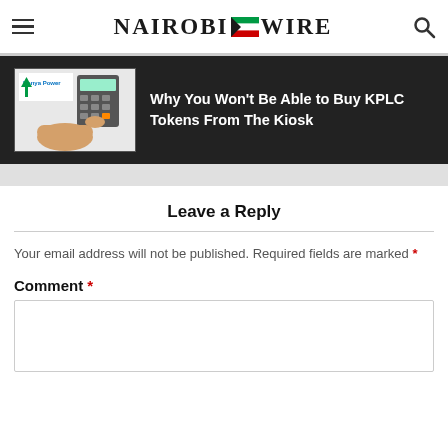NAIROBI WIRE
[Figure (photo): Kenya Power logo and card payment terminal device with a hand pressing buttons]
Why You Won't Be Able to Buy KPLC Tokens From The Kiosk
Leave a Reply
Your email address will not be published. Required fields are marked *
Comment *